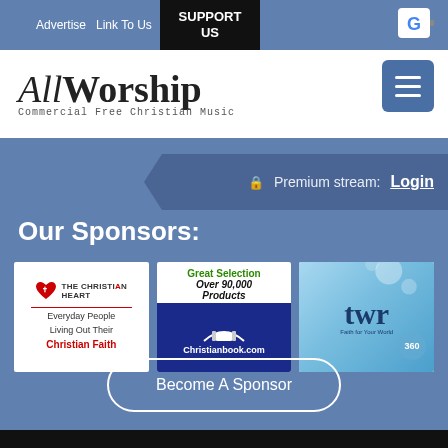Advertise  Link To Us  SUPPORT US
AllWorship — Commercial Free Christian Music
Premium stream: Login
Our Sponsors:
[Figure (other): The Christian Heart sponsor logo — Everyday People Living Out Their Christian Faith]
[Figure (other): Christianbook.com sponsor ad — Great Selection Over 90,000 Products]
[Figure (other): TWR 360 — Faith for Your World sponsor logo]
Become A Sponsor